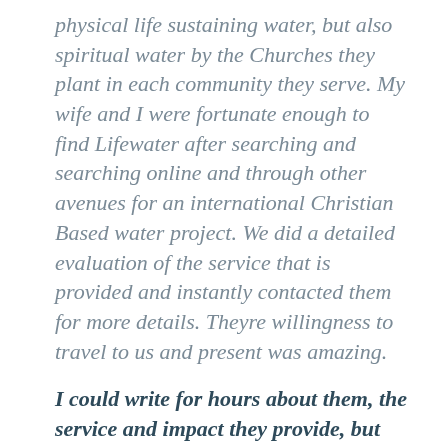physical life sustaining water, but also spiritual water by the Churches they plant in each community they serve. My wife and I were fortunate enough to find Lifewater after searching and searching online and through other avenues for an international Christian Based water project. We did a detailed evaluation of the service that is provided and instantly contacted them for more details. Theyre willingness to travel to us and present was amazing.
I could write for hours about them, the service and impact they provide, but just looking at the annual reports and financial...